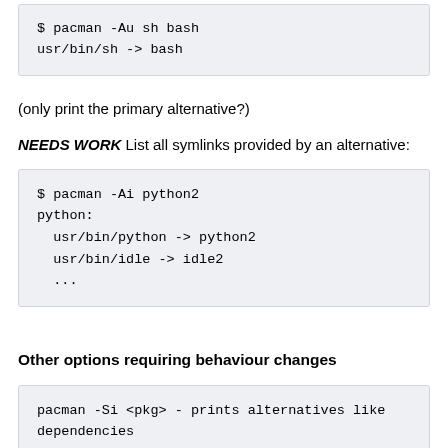$ pacman -Au sh bash
usr/bin/sh -> bash
(only print the primary alternative?)
NEEDS WORK List all symlinks provided by an alternative:
$ pacman -Ai python2
python:
  usr/bin/python -> python2
  usr/bin/idle -> idle2
  ...
Other options requiring behaviour changes
pacman -Si <pkg> - prints alternatives like dependencies
pacman -Qi <pkg> - prints alternatives and also note whether alternative is active
pacman -Qo <alternative symlink> - assigned ownership to the package providing the alter...